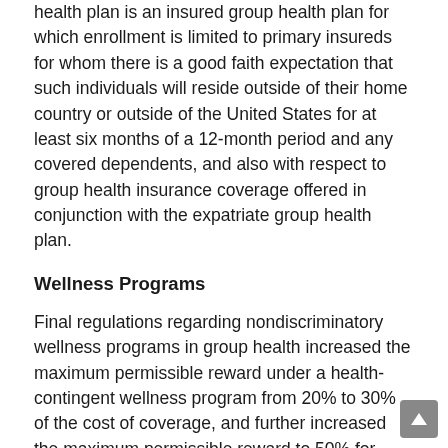health plan is an insured group health plan for which enrollment is limited to primary insureds for whom there is a good faith expectation that such individuals will reside outside of their home country or outside of the United States for at least six months of a 12-month period and any covered dependents, and also with respect to group health insurance coverage offered in conjunction with the expatriate group health plan.
Wellness Programs
Final regulations regarding nondiscriminatory wellness programs in group health increased the maximum permissible reward under a health-contingent wellness program from 20% to 30% of the cost of coverage, and further increased the maximum permissible reward to 50% for wellness programs designed to prevent or reduce tobacco use. The DOL explains that the FAQs address